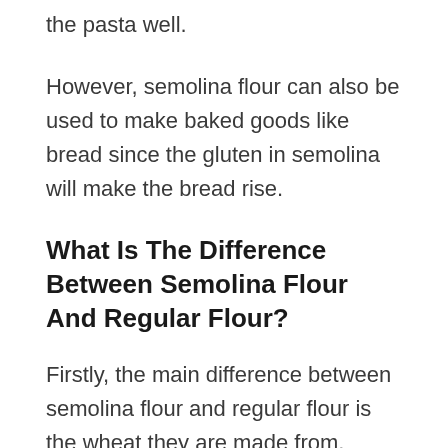the pasta well.
However, semolina flour can also be used to make baked goods like bread since the gluten in semolina will make the bread rise.
What Is The Difference Between Semolina Flour And Regular Flour?
Firstly, the main difference between semolina flour and regular flour is the wheat they are made from. Semolina flour is created from durum wheat while regular